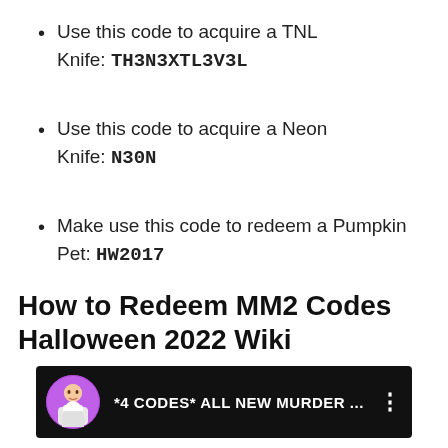Use this code to acquire a TNL Knife: TH3N3XTL3V3L
Use this code to acquire a Neon Knife: N30N
Make use this code to redeem a Pumpkin Pet: HW2017
How to Redeem MM2 Codes Halloween 2022 Wiki
[Figure (screenshot): Video thumbnail for '*4 CODES* ALL NEW MURDER ...' showing a Roblox character avatar in a circle on a dark background with a three-dot menu icon]